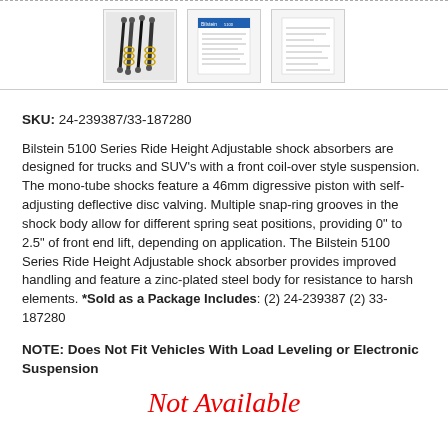[Figure (photo): Three product thumbnails: shock absorbers photo, and two document/spec sheets]
SKU: 24-239387/33-187280
Bilstein 5100 Series Ride Height Adjustable shock absorbers are designed for trucks and SUV's with a front coil-over style suspension. The mono-tube shocks feature a 46mm digressive piston with self-adjusting deflective disc valving. Multiple snap-ring grooves in the shock body allow for different spring seat positions, providing 0" to 2.5" of front end lift, depending on application. The Bilstein 5100 Series Ride Height Adjustable shock absorber provides improved handling and feature a zinc-plated steel body for resistance to harsh elements. *Sold as a Package Includes: (2) 24-239387 (2) 33-187280
NOTE: Does Not Fit Vehicles With Load Leveling or Electronic Suspension
Not Available